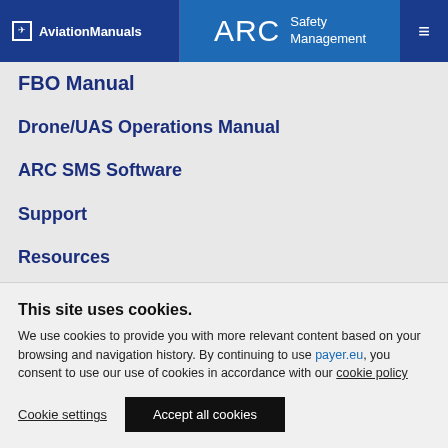AviationManuals | ARC Safety Management
FBO Manual
Drone/UAS Operations Manual
ARC SMS Software
Support
Resources
Login
Visit ARC
This site uses cookies. We use cookies to provide you with more relevant content based on your browsing and navigation history. By continuing to use payer.eu, you consent to use our use of cookies in accordance with our cookie policy
Cookie settings | Accept all cookies